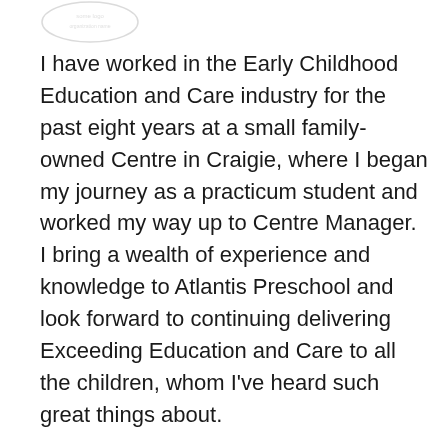[Figure (logo): Faint logo/watermark in top left corner]
I have worked in the Early Childhood Education and Care industry for the past eight years at a small family-owned Centre in Craigie, where I began my journey as a practicum student and worked my way up to Centre Manager. I bring a wealth of experience and knowledge to Atlantis Preschool and look forward to continuing delivering Exceeding Education and Care to all the children, whom I've heard such great things about.
I see myself as well rounded, I love being in the great outdoors and I enjoy camping, swimming and traveling at the weekend. I particularly enjoy taking the children out on excursions and